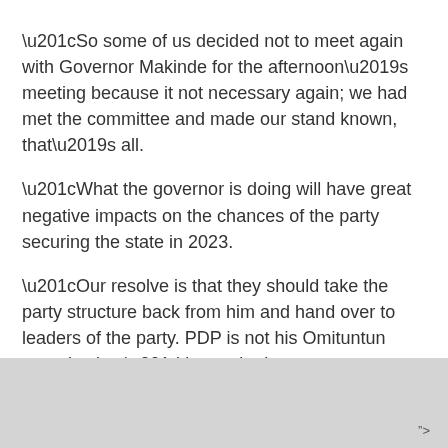“So some of us decided not to meet again with Governor Makinde for the afternoon’s meeting because it not necessary again; we had met the committee and made our stand known, that’s all.
“What the governor is doing will have great negative impacts on the chances of the party securing the state in 2023.
“Our resolve is that they should take the party structure back from him and hand over to leaders of the party. PDP is not his Omituntun organisation,” he posited.
Others who spoke to Vanguard in their separate reactions,
“>